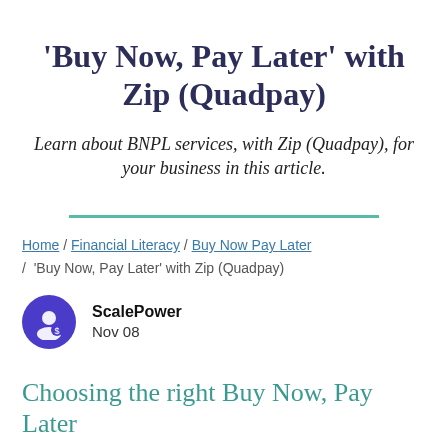'Buy Now, Pay Later' with Zip (Quadpay)
Learn about BNPL services, with Zip (Quadpay), for your business in this article.
Home / Financial Literacy / Buy Now Pay Later / 'Buy Now, Pay Later' with Zip (Quadpay)
ScalePower
Nov 08
Choosing the right Buy Now, Pay Later